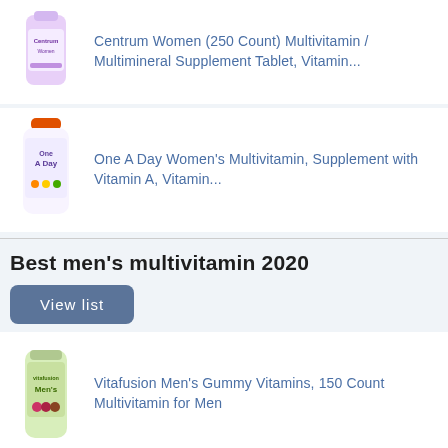[Figure (photo): Centrum Women multivitamin bottle product image]
Centrum Women (250 Count) Multivitamin / Multimineral Supplement Tablet, Vitamin...
[Figure (photo): One A Day Women's multivitamin bottle product image]
One A Day Women's Multivitamin, Supplement with Vitamin A, Vitamin...
Best men's multivitamin 2020
View list
[Figure (photo): Vitafusion Men's Gummy Vitamins bottle product image]
Vitafusion Men's Gummy Vitamins, 150 Count Multivitamin for Men
[Figure (photo): New Chapter Men's Multivitamin bottle product image]
New Chapter Men's Multivitamin, Every Man's One Daily Fermented with...